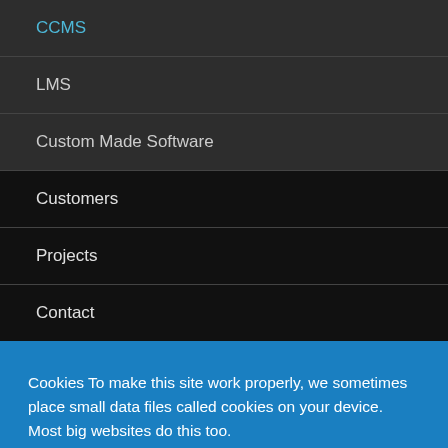CCMS
LMS
Custom Made Software
Customers
Projects
Contact
Cookies To make this site work properly, we sometimes place small data files called cookies on your device. Most big websites do this too.
Accept
Change Settings